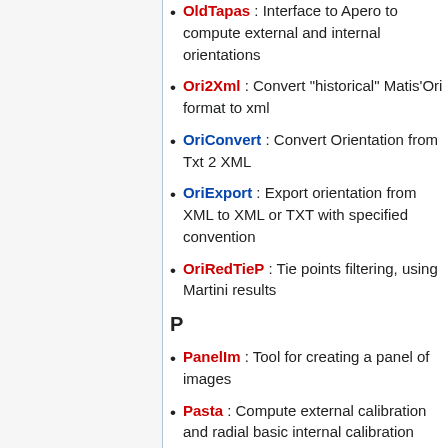OldTapas : Interface to Apero to compute external and internal orientations
Ori2Xml : Convert "historical" Matis'Ori format to xml
OriConvert : Convert Orientation from Txt 2 XML
OriExport : Export orientation from XML to XML or TXT with specified convention
OriRedTieP : Tie points filtering, using Martini results
P
PanelIm : Tool for creating a panel of images
Pasta : Compute external calibration and radial basic internal calibration
Pastis : Tie points detection
PatFromOri : Get pattern of images